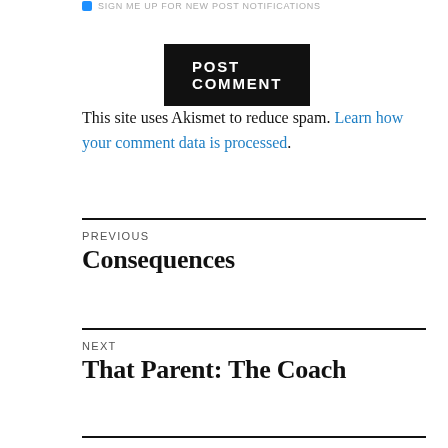SIGN ME UP FOR NEW POST NOTIFICATIONS
POST COMMENT
This site uses Akismet to reduce spam. Learn how your comment data is processed.
Previous
Consequences
Next
That Parent: The Coach